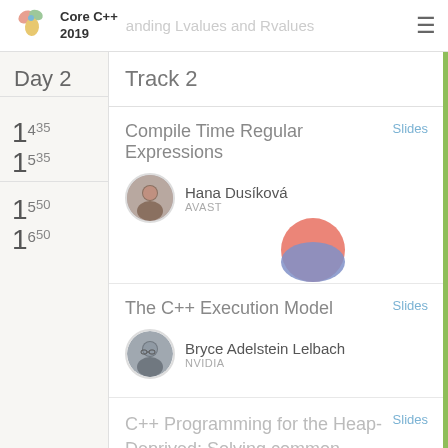Core C++ 2019 — Understanding Lvalues and Rvalues
Day 2
Track 2
14:35 – 15:35
Compile Time Regular Expressions
Hana Dusíková — AVAST
Slides
15:50 – 16:50
The C++ Execution Model
Bryce Adelstein Lelbach — NVIDIA
Slides
C++ Programming for the Heap-Deprived: Solving common problems without dynamic memory allocation
Slides